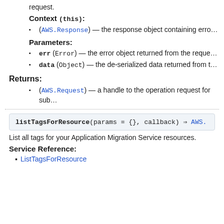request.
Context (this):
(AWS.Response) — the response object containing erro…
Parameters:
err (Error) — the error object returned from the reque…
data (Object) — the de-serialized data returned from t…
Returns:
(AWS.Request) — a handle to the operation request for sub…
listTagsForResource(params = {}, callback) ⇒ AWS.…
List all tags for your Application Migration Service resources.
Service Reference:
ListTagsForResource